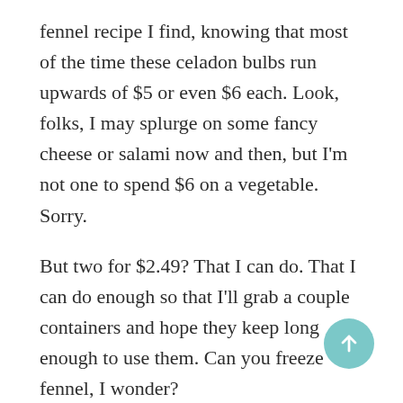fennel recipe I find, knowing that most of the time these celadon bulbs run upwards of $5 or even $6 each. Look, folks, I may splurge on some fancy cheese or salami now and then, but I'm not one to spend $6 on a vegetable. Sorry.
But two for $2.49? That I can do. That I can do enough so that I'll grab a couple containers and hope they keep long enough to use them. Can you freeze fennel, I wonder?
The fennel in this soup comes through splendidly, albeit subtly. The real star here is the beet. Obviously. You don't look at this soup and think,
[Figure (other): Teal/turquoise circular scroll-to-top button with upward arrow icon, positioned at bottom right of the page.]